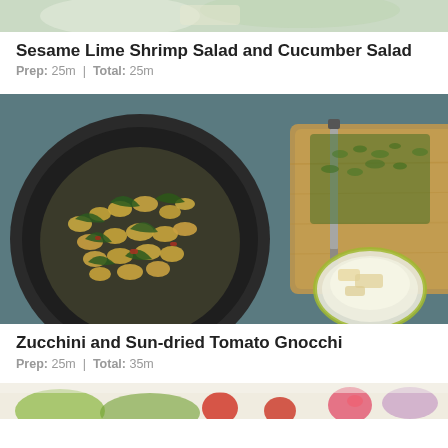[Figure (photo): Top portion of a Sesame Lime Shrimp Salad and Cucumber Salad dish, partially cropped at the top]
Sesame Lime Shrimp Salad and Cucumber Salad
Prep: 25m | Total: 25m
[Figure (photo): Overhead photo of gnocchi with spinach and sun-dried tomatoes in a dark pan, with a wooden cutting board with chopped herbs and a small bowl of parmesan]
Zucchini and Sun-dried Tomato Gnocchi
Prep: 25m | Total: 35m
[Figure (photo): Partial view of a colorful salad with lettuce, tomatoes, radishes, and other vegetables in a white dish, cropped at bottom]